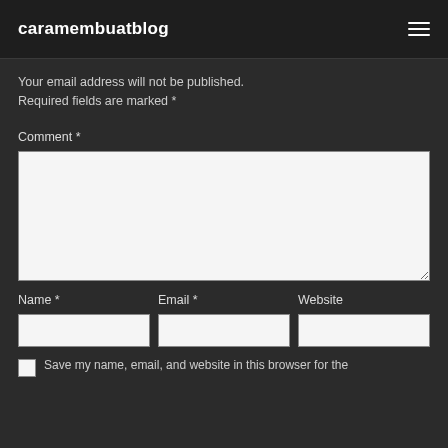caramembuatblog
Your email address will not be published. Required fields are marked *
Comment *
Name *
Email *
Website
Save my name, email, and website in this browser for the